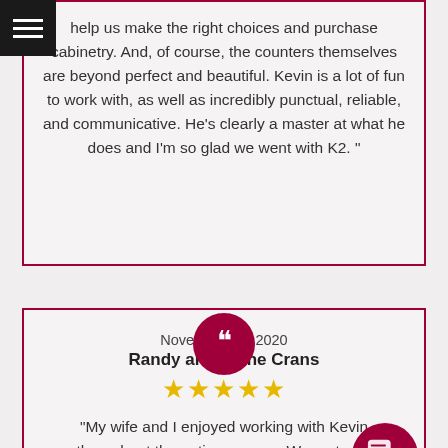help us make the right choices and purchase cabinetry. And, of course, the counters themselves are beyond perfect and beautiful. Kevin is a lot of fun to work with, as well as incredibly punctual, reliable, and communicative. He's clearly a master at what he does and I'm so glad we went with K2. "
November 13, 2020
Randy and Diane Crans
[Figure (other): Five gold star rating]
"My wife and I enjoyed working with Kevin throughout the entire process. We met with